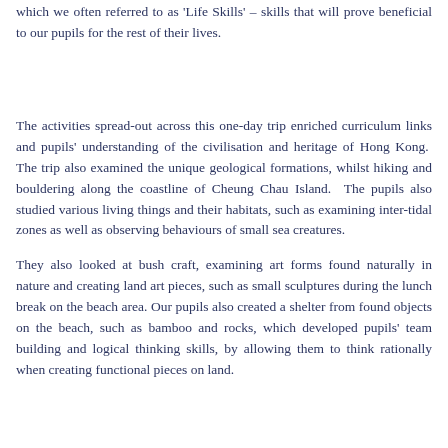which we often referred to as 'Life Skills' – skills that will prove beneficial to our pupils for the rest of their lives.
The activities spread-out across this one-day trip enriched curriculum links and pupils' understanding of the civilisation and heritage of Hong Kong. The trip also examined the unique geological formations, whilst hiking and bouldering along the coastline of Cheung Chau Island. The pupils also studied various living things and their habitats, such as examining inter-tidal zones as well as observing behaviours of small sea creatures.
They also looked at bush craft, examining art forms found naturally in nature and creating land art pieces, such as small sculptures during the lunch break on the beach area. Our pupils also created a shelter from found objects on the beach, such as bamboo and rocks, which developed pupils' team building and logical thinking skills, by allowing them to think rationally when creating functional pieces on land.